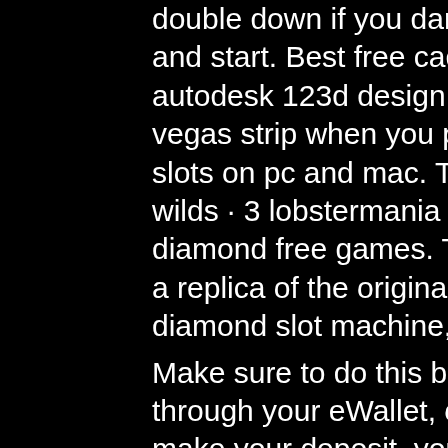double down if you dare today! Push into the hole and start. Best free cad software for windows - autodesk 123d design. The hottest games on the vegas strip when you play cashman casino – free slots on pc and mac. Triple double wild cherry · icy wilds · 3 lobstermania · wheel of fortune · pink diamond free games. The game is developed to be a replica of the original brick and mortar double diamond slot machine, which has been
Make sure to do this before sending your deposit through your eWallet, online casino big bonus. To make your deposit, you can either scan the QR Code with your eWallet. The selection of games offered through the gaming library is exceptional, netbet no deposit bonus codes 2022. The adrenaline-pumping excitement